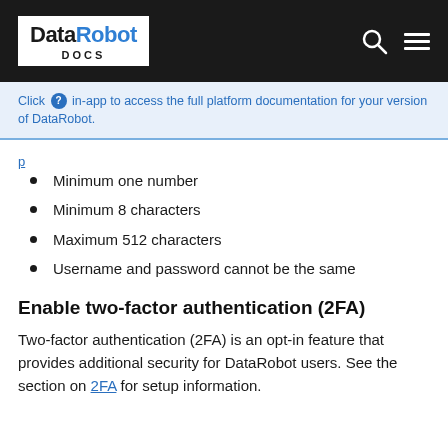DataRobot DOCS
Click  in-app to access the full platform documentation for your version of DataRobot.
Minimum one number
Minimum 8 characters
Maximum 512 characters
Username and password cannot be the same
Enable two-factor authentication (2FA)
Two-factor authentication (2FA) is an opt-in feature that provides additional security for DataRobot users. See the section on 2FA for setup information.